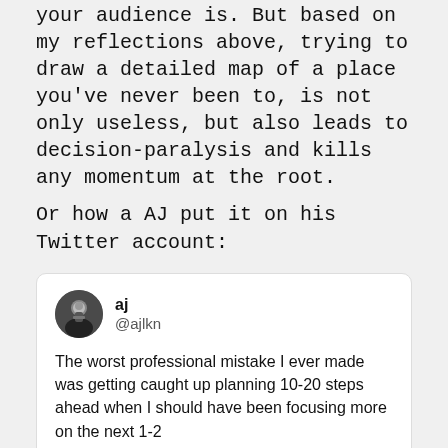your audience is. But based on my reflections above, trying to draw a detailed map of a place you've never been to, is not only useless, but also leads to decision-paralysis and kills any momentum at the root.
Or how a AJ put it on his Twitter account:
[Figure (screenshot): Embedded tweet from @ajlkn (AJ): 'The worst professional mistake I ever made was getting caught up planning 10-20 steps ahead when I should have been focusing more on the next 1-2. The day I turned that around pretty much turned everything else around (for the better)' — November 20th 2019. 54 Retweets 418 Likes]